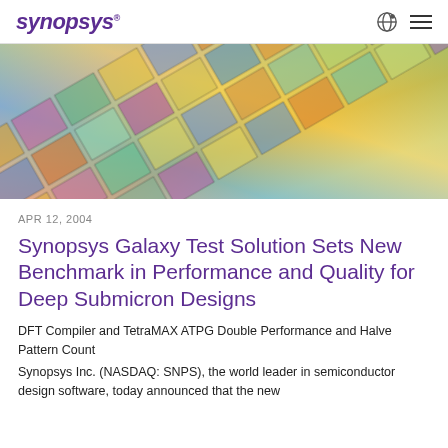SYNOPSYS
[Figure (photo): Colorful semiconductor wafer with multiple chip dies arranged in a grid pattern, showing iridescent colors including blue, green, yellow, pink, and purple under angled light.]
APR 12, 2004
Synopsys Galaxy Test Solution Sets New Benchmark in Performance and Quality for Deep Submicron Designs
DFT Compiler and TetraMAX ATPG Double Performance and Halve Pattern Count
Synopsys Inc. (NASDAQ: SNPS), the world leader in semiconductor design software, today announced that the new